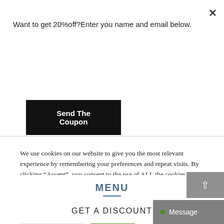Want to get 20%off?Enter you name and email below.
Send The Coupon
We use cookies on our website to give you the most relevant experience by remembering your preferences and repeat visits. By clicking “Accept”, you consent to the use of ALL the cookies.
Do not sell my personal information.
Cookie Settings   Accept
MENU
GET A DISCOUNT
Message